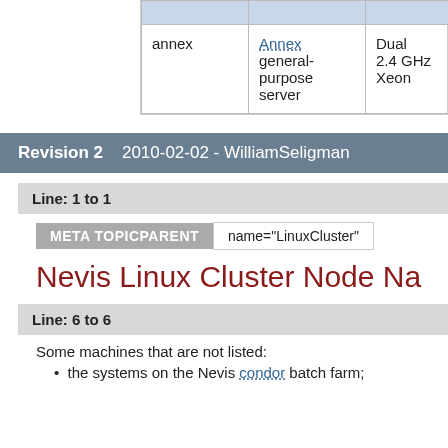|  |  | Dual 2.4 GHz Xeon | 1 GB | 250 GB | some... |
| --- | --- | --- | --- | --- | --- |
| annex | Annex general-purpose server | Dual 2.4 GHz Xeon | 1 GB | 250 GB | some have pract... |
Revision 2    2010-02-02 - WilliamSeligman
Line: 1 to 1
META TOPICPARENT   name="LinuxCluster"
Nevis Linux Cluster Node Na
Line: 6 to 6
Some machines that are not listed:
the systems on the Nevis condor batch farm;